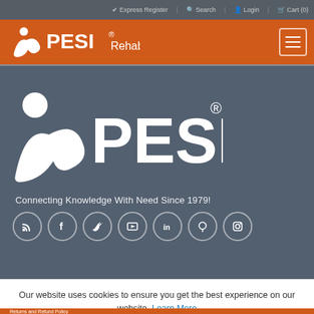✔ Express Register  🔍 Search  👤 Login  🛒 Cart (0)
[Figure (logo): PESI Rehab logo in white on orange header bar with hamburger menu icon]
[Figure (logo): Large white PESI logo with registered trademark symbol on dark gray background]
Connecting Knowledge With Need Since 1979!
[Figure (infographic): Row of 7 circular social media icons: RSS, Facebook, Twitter, YouTube, LinkedIn, Pinterest, Instagram]
Our website uses cookies to ensure you get the best experience on our website. Learn More
OK, I GOT IT!
No thank you.
Returns and Refund Policy